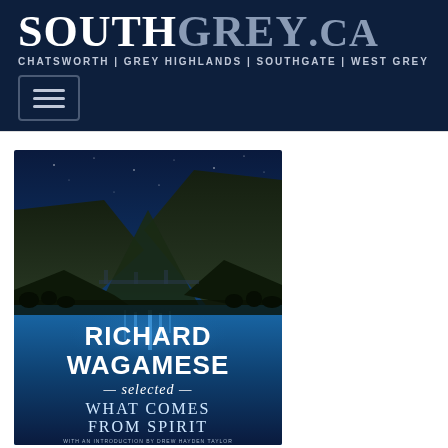SouthGrey.ca — Chatsworth | Grey Highlands | Southgate | West Grey
[Figure (photo): Book cover of 'Richard Wagamese Selected: What Comes From Spirit' showing a night scene with mountains, a lake reflecting blue light, and white text. A small line at the bottom reads 'With an introduction by Drew Hayden Taylor'.]